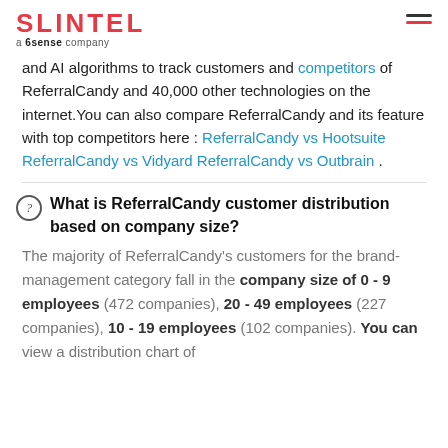SLINTEL a 6sense company
and AI algorithms to track customers and competitors of ReferralCandy and 40,000 other technologies on the internet. You can also compare ReferralCandy and its feature with top competitors here : ReferralCandy vs Hootsuite ReferralCandy vs Vidyard ReferralCandy vs Outbrain .
What is ReferralCandy customer distribution based on company size?
The majority of ReferralCandy's customers for the brand-management category fall in the company size of 0 - 9 employees (472 companies), 20 - 49 employees (227 companies), 10 - 19 employees (102 companies). You can view a distribution chart of